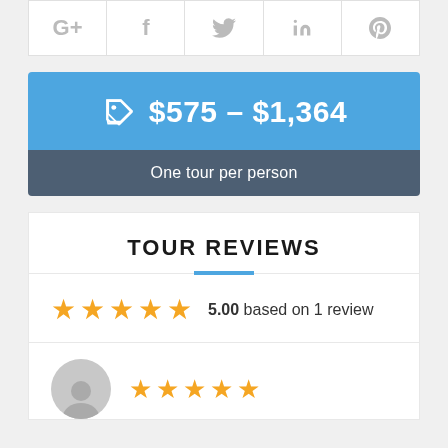[Figure (other): Social sharing icons bar: Google+, Facebook, Twitter, LinkedIn, Pinterest]
[Figure (infographic): Price box showing $575 – $1,364 with a tag icon on blue background, and 'One tour per person' on dark grey background]
TOUR REVIEWS
5.00 based on 1 review
[Figure (other): Reviewer avatar (grey silhouette) with 5 gold stars]